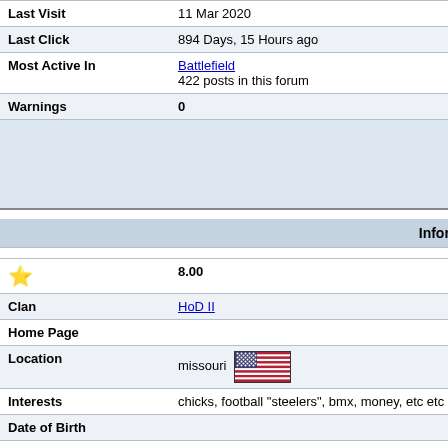| Field | Value | Right |
| --- | --- | --- |
| Last Visit | 11 Mar 2020 | AIM Address |
| Last Click | 894 Days, 15 Hours ago | ICQ Number |
| Most Active In | Battlefield
422 posts in this forum | MSN Messenger |
| Warnings | 0 | Yahoo Messenger |
|  |  | Private Message |
|  |  | Items: |
|  |  | Reputation |
| Information |  |  |
| (star) | 8.00 | Member Title |
| Clan | HoD II | Title |
| Home Page |  | Group |
| Location | missouri (US flag) | Avatar |
| Interests | chicks, football "steelers", bmx, money, etc etc |  |
| Date of Birth |  |  |
| Gender | Male | Signature |
| Occupation | sfi comp rep/father |  |
| Member Group | Donor Forum Access |  |
| Arcade Scores | Click here to view this user's scores |  |